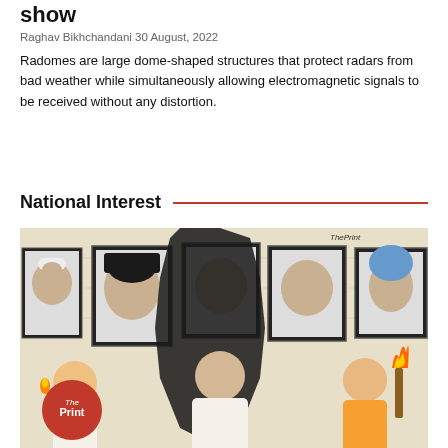show
Raghav Bikhchandani 30 August, 2022
Radomes are large dome-shaped structures that protect radars from bad weather while simultaneously allowing electromagnetic signals to be received without any distortion.
National Interest
[Figure (illustration): Illustration showing people holding torches looking at framed portraits of Indian political figures on a wall, with a large hand-shaped figure in the center. ThePrint logo visible. Illustration style artwork in black and white with orange accents.]